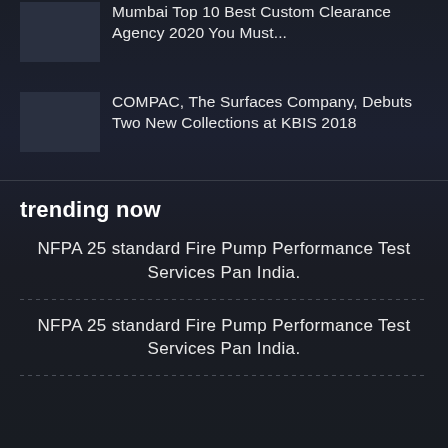Mumbai Top 10 Best Custom Clearance Agency 2020 You Must...
COMPAC, The Surfaces Company, Debuts Two New Collections at KBIS 2018
trending now
NFPA 25 standard Fire Pump Performance Test Services Pan India.
NFPA 25 standard Fire Pump Performance Test Services Pan India.